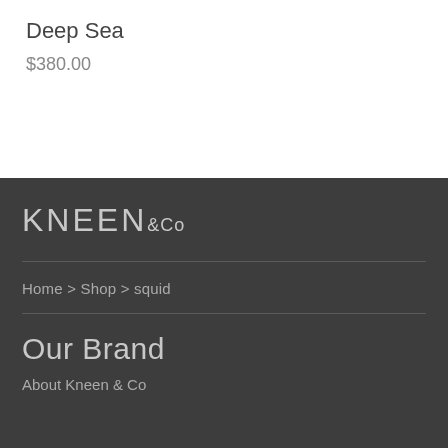Deep Sea
$380.00
[Figure (logo): KNEEN&Co brand logo in light grey text on dark background]
Home > Shop > squid
Our Brand
About Kneen & Co